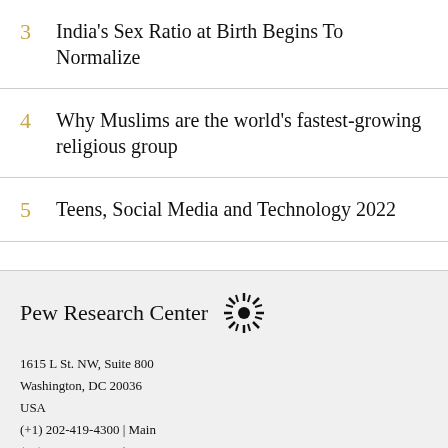3  India's Sex Ratio at Birth Begins To Normalize
4  Why Muslims are the world's fastest-growing religious group
5  Teens, Social Media and Technology 2022
Pew Research Center
1615 L St. NW, Suite 800
Washington, DC 20036
USA
(+1) 202-419-4300 | Main
(+1) 202-857-8562 | Fax
(+1) 202-419-4372 | Media Inquiries